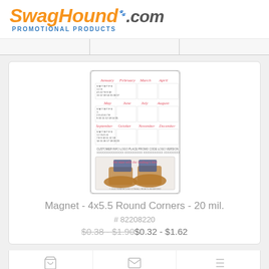[Figure (logo): SwagHound.com Promotional Products logo with orange italic text and blue subtitle]
[Figure (photo): Product image of a calendar magnet showing monthly calendar grid on top half and a movie poster 'the man with the bedbug's bite' on bottom half, with rounded corners]
Magnet - 4x5.5 Round Corners - 20 mil.
# 82208220
$0.38 - $1.90$0.32 - $1.62